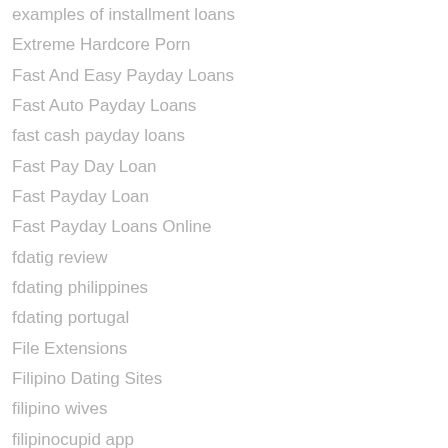examples of installment loans
Extreme Hardcore Porn
Fast And Easy Payday Loans
Fast Auto Payday Loans
fast cash payday loans
Fast Pay Day Loan
Fast Payday Loan
Fast Payday Loans Online
fdatig review
fdating philippines
fdating portugal
File Extensions
Filipino Dating Sites
filipino wives
filipinocupid app
Find A Bride
Find A Mail Order Bride
Find A Russian Bride